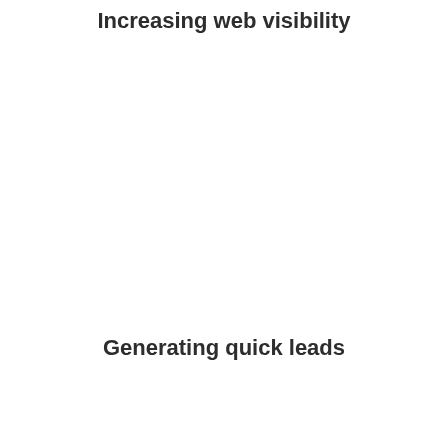Increasing web visibility
Generating quick leads